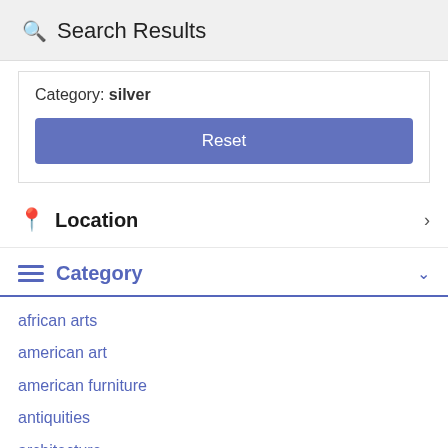Search Results
Category: silver
Reset
Location
Category
african arts
american art
american furniture
antiquities
architecture
arms & armor
art nouveau - art deco